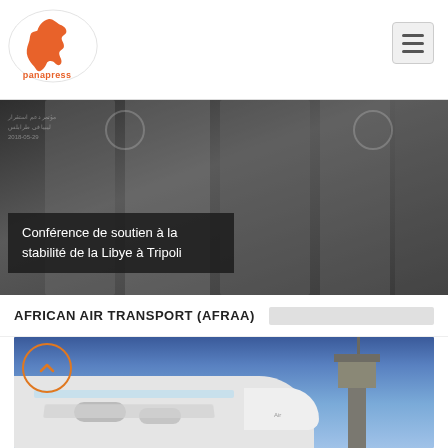panapress
[Figure (photo): Conference de soutien a la stabilite de la Libye a Tripoli — background photo of figures at a conference, dark overlay with caption text]
Conférence de soutien à la stabilité de la Libye à Tripoli
AFRICAN AIR TRANSPORT (AFRAA)
[Figure (photo): Airplane on tarmac under blue sky with an airport control tower visible on the right]